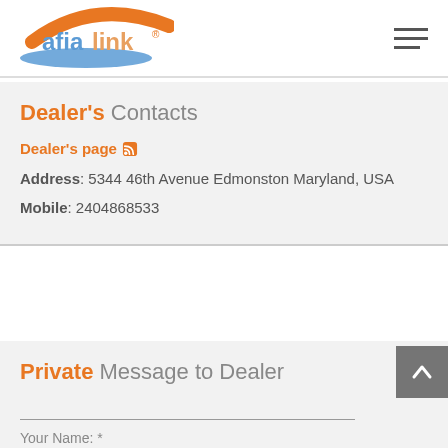[Figure (logo): Afia Link logo with orange swoosh and blue wave beneath the text]
Dealer's Contacts
Dealer's page
Address: 5344 46th Avenue Edmonston Maryland, USA
Mobile: 2404868533
Private Message to Dealer
Your Name: *